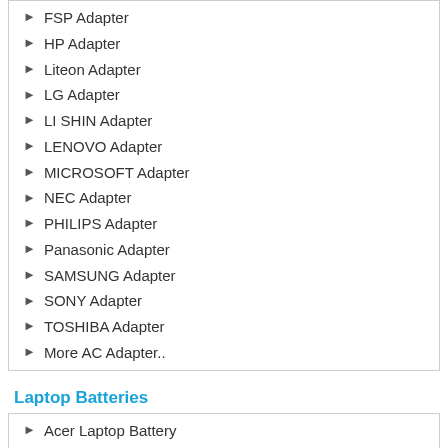FSP Adapter
HP Adapter
Liteon Adapter
LG Adapter
LI SHIN Adapter
LENOVO Adapter
MICROSOFT Adapter
NEC Adapter
PHILIPS Adapter
Panasonic Adapter
SAMSUNG Adapter
SONY Adapter
TOSHIBA Adapter
More AC Adapter..
Laptop Batteries
Acer Laptop Battery
Apple Laptop Battery
Asus Laptop Battery
CLEVO Laptop Battery
Dell Laptop Battery